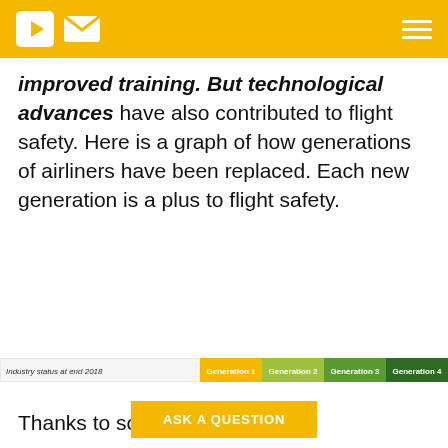Navigation bar with YouTube icon, mail icon, and hamburger menu
improved training. But technological advances have also contributed to flight safety. Here is a graph of how generations of airliners have been replaced. Each new generation is a plus to flight safety.
[Figure (infographic): Partial horizontal stacked bar chart showing industry status at end 2018 with generation labels (Generation 1, Generation 2, Generation 3, Generation 4) in colored segments (yellow, lime, green, dark green).]
Thanks to sc... rgress,